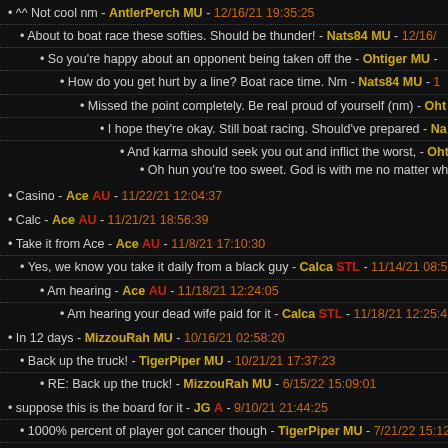^^ Not cool nm - AntlerPerch MU - 12/16/21 19:35:25
About to boat race these softies. Should be thunder! - Nats84 MU - 12/16/...
So you're happy about an opponent being taken off the - Ohtiger MU - ...
How do you get hurt by a line? Boat race time. Nm - Nats84 MU - 1...
Missed the point completely. Be real proud of yourself (nm) - Oht...
I hope they're okay. Still boat racing. Should've prepared - Na...
And karma should seek you out and inflict the worst, - Oht...
Oh hun you're too sweet. God is with me no matter wha...
Casino - Ace AU - 11/22/21 12:04:37
Calc - Ace AU - 11/21/21 18:56:39
Take it from Ace - Ace AU - 11/8/21 17:10:30
Yes, we know you take it daily from a black guy - Calca STL - 11/14/21 08:56...
Am hearing - Ace AU - 11/18/21 12:24:05
Am hearing your dead wife paid for it - Calca STL - 11/18/21 12:25:46
In 12 days - MizzouRah MU - 10/16/21 02:58:20
Back up the truck! - TigerPiper MU - 10/21/21 17:37:23
RE: Back up the truck! - MizzouRah MU - 6/15/22 15:09:01
suppose this is the board for it - JG A - 9/10/21 21:44:25
1000% percent of player got cancer though - TigerPiper MU - 7/21/22 15:12...
union? (nm) - SwampTiger MU - 9/14/21 15:01:43
Sounds pretty consistent with the - Outsider MU - 9/13/21 18:20:53